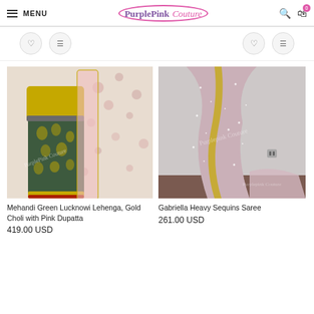MENU | PurplePink Couture | Search | Cart
[Figure (screenshot): Wishlist and menu icon buttons bar]
[Figure (photo): Mehandi Green Lucknowi Lehenga, Gold Choli with Pink Dupatta product photo on mannequin with floral background]
Mehandi Green Lucknowi Lehenga, Gold Choli with Pink Dupatta
419.00 USD
[Figure (photo): Gabriella Heavy Sequins Saree product photo showing sparkly pink/gold saree on model]
Gabriella Heavy Sequins Saree
261.00 USD